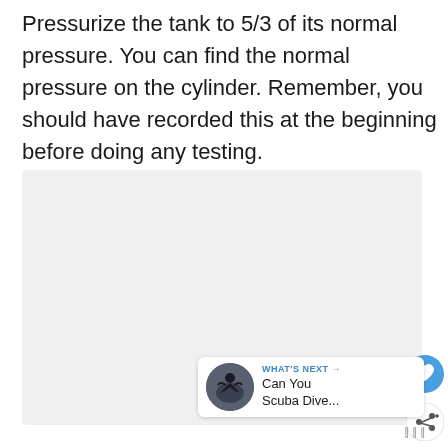Pressurize the tank to 5/3 of its normal pressure. You can find the normal pressure on the cylinder. Remember, you should have recorded this at the beginning before doing any testing.
[Figure (photo): Light grey placeholder image area representing an embedded photograph or illustration, with UI overlay elements (heart/like button, share button, What's Next card with scuba diver thumbnail)]